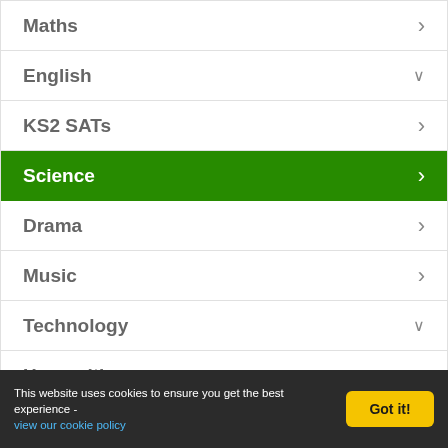Maths
English
KS2 SATs
Science
Drama
Music
Technology
Humanities
French
This website uses cookies to ensure you get the best experience - view our cookie policy
Got it!